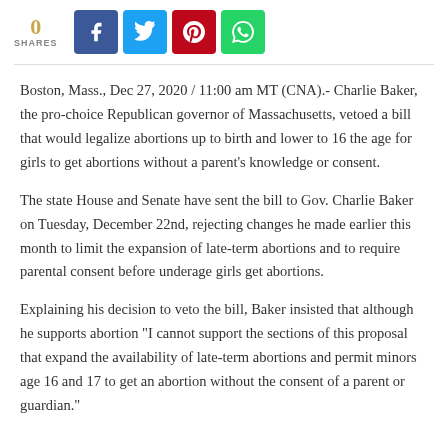[Figure (other): Social share bar with share count 0 and buttons for Facebook, Twitter, Pinterest, WhatsApp]
Boston, Mass., Dec 27, 2020 / 11:00 am MT (CNA).- Charlie Baker, the pro-choice Republican governor of Massachusetts, vetoed a bill that would legalize abortions up to birth and lower to 16 the age for girls to get abortions without a parent’s knowledge or consent.
The state House and Senate have sent the bill to Gov. Charlie Baker on Tuesday, December 22nd, rejecting changes he made earlier this month to limit the expansion of late-term abortions and to require parental consent before underage girls get abortions.
Explaining his decision to veto the bill, Baker insisted that although he supports abortion “I cannot support the sections of this proposal that expand the availability of late-term abortions and permit minors age 16 and 17 to get an abortion without the consent of a parent or guardian.”